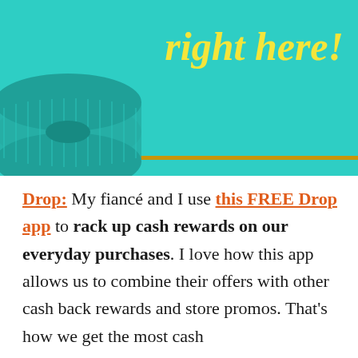[Figure (illustration): Teal/turquoise banner background with a rolled spool of thread/ribbon on the left side and a gold horizontal bar near the bottom. Yellow italic text reads 'right here!']
Drop: My fiancé and I use this FREE Drop app to rack up cash rewards on our everyday purchases. I love how this app allows us to combine their offers with other cash back rewards and store promos. That's how we get the most cash